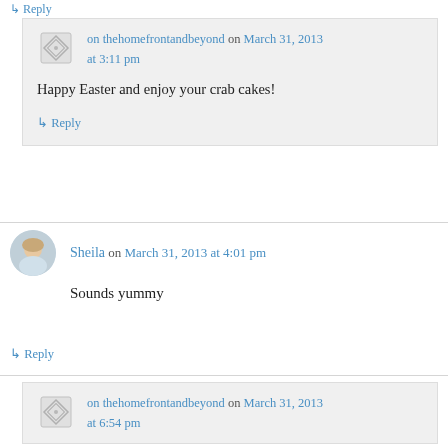↳ Reply
on thehomefrontandbeyond on March 31, 2013 at 3:11 pm
Happy Easter and enjoy your crab cakes!
↳ Reply
Sheila on March 31, 2013 at 4:01 pm
Sounds yummy
↳ Reply
on thehomefrontandbeyond on March 31, 2013 at 6:54 pm